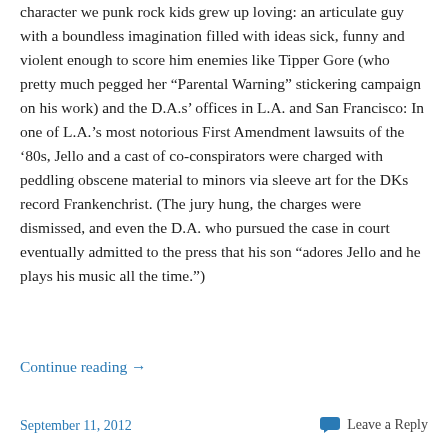character we punk rock kids grew up loving: an articulate guy with a boundless imagination filled with ideas sick, funny and violent enough to score him enemies like Tipper Gore (who pretty much pegged her “Parental Warning” stickering campaign on his work) and the D.A.s’ offices in L.A. and San Francisco: In one of L.A.’s most notorious First Amendment lawsuits of the ‘80s, Jello and a cast of co-conspirators were charged with peddling obscene material to minors via sleeve art for the DKs record Frankenchrist. (The jury hung, the charges were dismissed, and even the D.A. who pursued the case in court eventually admitted to the press that his son “adores Jello and he plays his music all the time.”)
Continue reading →
September 11, 2012
Leave a Reply